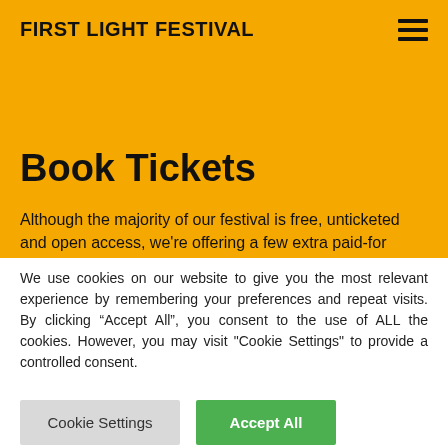FIRST LIGHT FESTIVAL
Book Tickets
Although the majority of our festival is free, unticketed and open access, we're offering a few extra paid-for events to complement your
We use cookies on our website to give you the most relevant experience by remembering your preferences and repeat visits. By clicking “Accept All”, you consent to the use of ALL the cookies. However, you may visit "Cookie Settings" to provide a controlled consent.